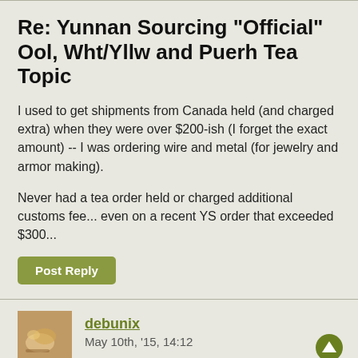Re: Yunnan Sourcing "Official" Ool, Wht/Yllw and Puerh Tea Topic
I used to get shipments from Canada held (and charged extra) when they were over $200-ish (I forget the exact amount) -- I was ordering wire and metal (for jewelry and armor making).
Never had a tea order held or charged additional customs fee... even on a recent YS order that exceeded $300...
Post Reply
debunix
May 10th, '15, 14:12
Re: Yunnan Sourcing "Official" Ool,